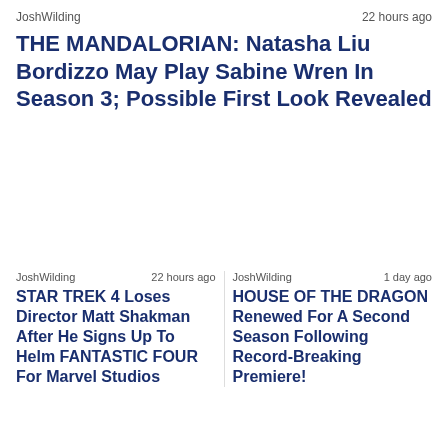JoshWilding   22 hours ago
THE MANDALORIAN: Natasha Liu Bordizzo May Play Sabine Wren In Season 3; Possible First Look Revealed
[Figure (photo): Article image placeholder (white space)]
JoshWilding   22 hours ago
STAR TREK 4 Loses Director Matt Shakman After He Signs Up To Helm FANTASTIC FOUR For Marvel Studios
JoshWilding   1 day ago
HOUSE OF THE DRAGON Renewed For A Second Season Following Record-Breaking Premiere!